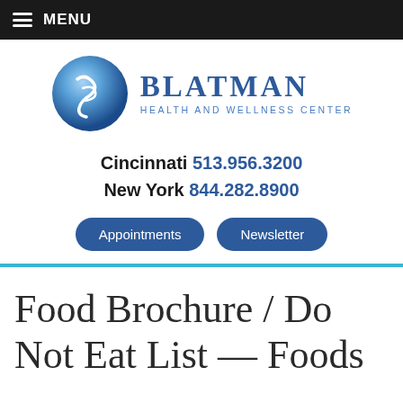MENU
[Figure (logo): Blatman Health and Wellness Center logo with blue sphere and B initial]
Cincinnati 513.956.3200
New York 844.282.8900
Appointments   Newsletter
Food Brochure / Do Not Eat List — Foods